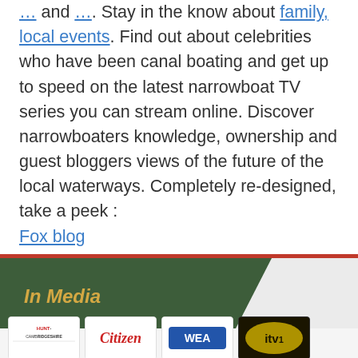… and …. Stay in the know about family, local events. Find out about celebrities who have been canal boating and get up to speed on the latest narrowboat TV series you can stream online. Discover narrowboaters knowledge, ownership and guest bloggers views of the future of the local waterways. Completely re-designed, take a peek : Fox blog
In Media
[Figure (logo): Four media logos: Cambridgeshire Hunt newspaper, Citizen newspaper, WEA logo, ITV1 logo]